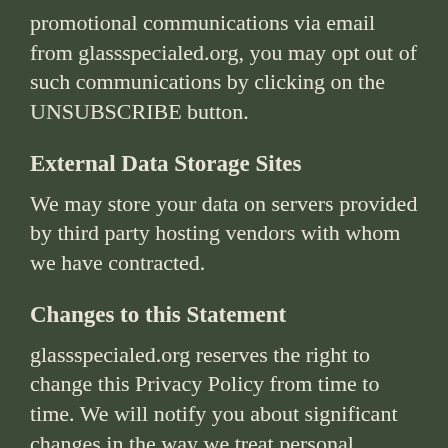promotional communications via email from glassspecialed.org, you may opt out of such communications by clicking on the UNSUBSCRIBE button.
External Data Storage Sites
We may store your data on servers provided by third party hosting vendors with whom we have contracted.
Changes to this Statement
glassspecialed.org reserves the right to change this Privacy Policy from time to time. We will notify you about significant changes in the way we treat personal information by sending a notice to the primary email address specified in your account, by placing a prominent notice on our site, and/or by updating any privacy information on this page. Your continued use of the Site and/or Services available through this Site after